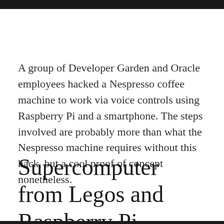A group of Developer Garden and Oracle employees hacked a Nespresso coffee machine to work via voice controls using Raspberry Pi and a smartphone. The steps involved are probably more than what the Nespresso machine requires without this hack, but a cool proof of concept nonetheless.
Supercomputer from Legos and Raspberry Pi